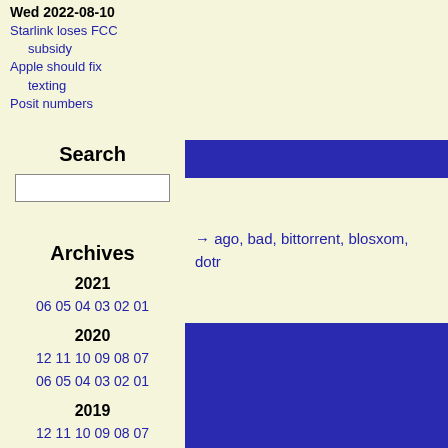Wed 2022-08-10
Starlink loses FCC subsidy
Apple should fix texting
Posit numbers
Search
Archives
2021
06 05 04 03 02 01
2020
12 11 10 09 08 07 06 05 04 03 02 01
2019
12 11 10 09 08 07 06 05 04 03 02 01
→ ago, bad, bittorrent, blosxom, dotr…